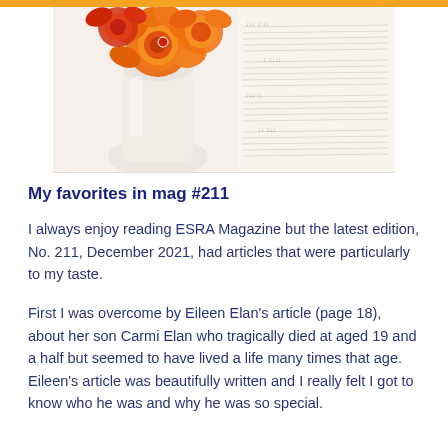[Figure (photo): Photo of orange/red flowers (ranunculus) in a white pitcher/vase next to an open sheet music book, on a white background.]
My favorites in mag #211
I always enjoy reading ESRA Magazine but the latest edition, No. 211, December 2021, had articles that were particularly to my taste.
First I was overcome by Eileen Elan's article (page 18), about her son Carmi Elan who tragically died at aged 19 and a half but seemed to have lived a life many times that age. Eileen's article was beautifully written and I really felt I got to know who he was and why he was so special.